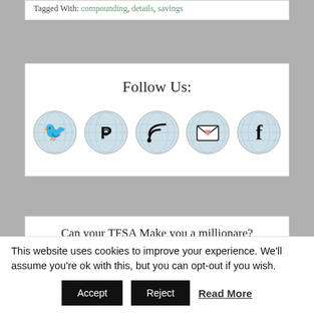Tagged With: compounding, details, savings
Follow Us:
[Figure (illustration): Five circular social media icons with globe-texture background: Twitter, Pinterest, RSS, Email, Facebook]
Can your TFSA Make you a millionare?
This website uses cookies to improve your experience. We'll assume you're ok with this, but you can opt-out if you wish.
Accept   Reject   Read More